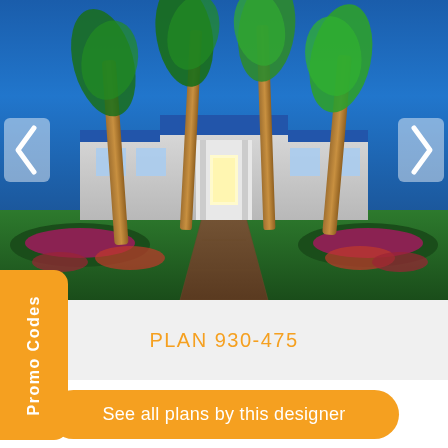[Figure (photo): Night-time exterior photo of a large single-story luxury home with palm trees lining a brick driveway leading to the entrance, blue sky background, landscaped flower beds on either side]
Promo Codes
PLAN 930-475
See all plans by this designer